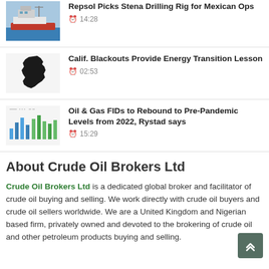Repsol Picks Stena Drilling Rig for Mexican Ops
14:28
Calif. Blackouts Provide Energy Transition Lesson
02:53
Oil & Gas FIDs to Rebound to Pre-Pandemic Levels from 2022, Rystad says
15:29
About Crude Oil Brokers Ltd
Crude Oil Brokers Ltd is a dedicated global broker and facilitator of crude oil buying and selling. We work directly with crude oil buyers and crude oil sellers worldwide. We are a United Kingdom and Nigerian based firm, privately owned and devoted to the brokering of crude oil and other petroleum products buying and selling.